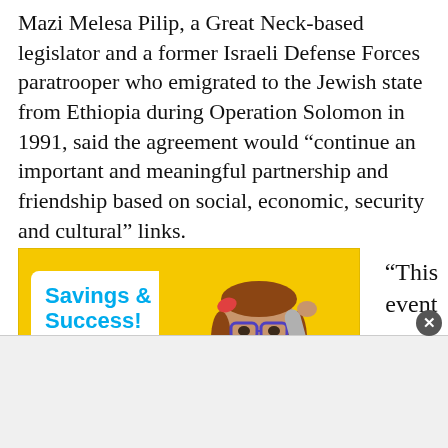Mazi Melesa Pilip, a Great Neck-based legislator and a former Israeli Defense Forces paratrooper who emigrated to the Jewish state from Ethiopia during Operation Solomon in 1991, said the agreement would “continue an important and meaningful partnership and friendship based on social, economic, security and cultural” links.
[Figure (photo): Advertisement with yellow background showing a young girl with braids and glasses holding fan of dollar bills, with speech bubble saying 'Savings & Success!' and text 'Get Results. Sign Up Today!']
“This event